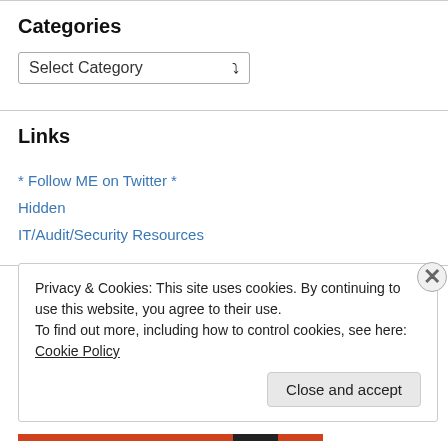Categories
Select Category
Links
* Follow ME on Twitter *
Hidden
IT/Audit/Security Resources
Privacy & Cookies: This site uses cookies. By continuing to use this website, you agree to their use.
To find out more, including how to control cookies, see here: Cookie Policy
Close and accept